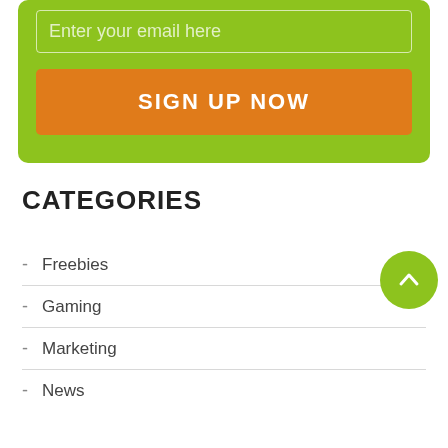[Figure (screenshot): Green rounded box with email input field placeholder 'Enter your email here' and an orange 'SIGN UP NOW' button]
CATEGORIES
Freebies
Gaming
Marketing
News